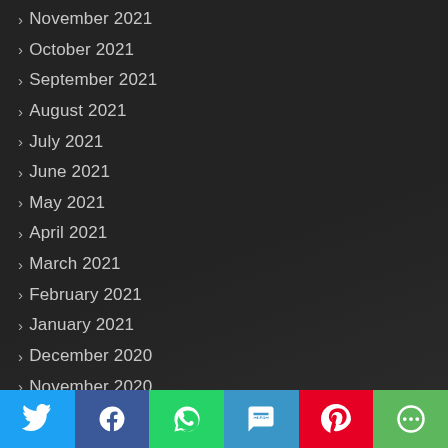November 2021
October 2021
September 2021
August 2021
July 2021
June 2021
May 2021
April 2021
March 2021
February 2021
January 2021
December 2020
November 2020
October 2020
June 2020
May 2020
Twitter | Facebook | WhatsApp | SMS | Pinterest | More